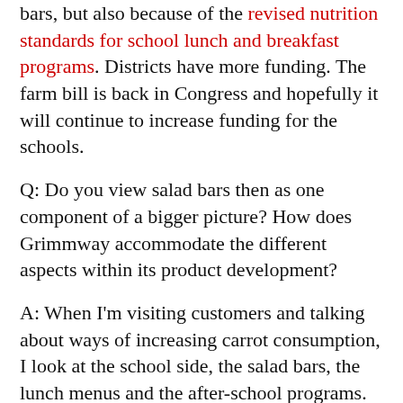bars, but also because of the revised nutrition standards for school lunch and breakfast programs. Districts have more funding. The farm bill is back in Congress and hopefully it will continue to increase funding for the schools.
Q: Do you view salad bars then as one component of a bigger picture? How does Grimmway accommodate the different aspects within its product development?
A: When I'm visiting customers and talking about ways of increasing carrot consumption, I look at the school side, the salad bars, the lunch menus and the after-school programs.  Snack packs can add value at a cost schools can afford.
It's all about costs when dealing with schools. We must consider the need when developing products. The many different forms of...